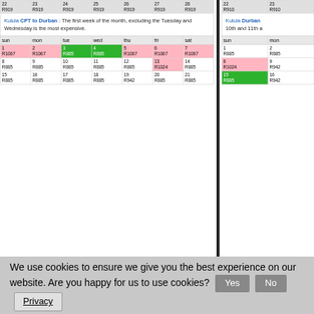| sun | mon | tue | wed | thu | fri | sat |
| --- | --- | --- | --- | --- | --- | --- |
| 22
R919 | 23
R919 | 24
R919 | 25
R919 | 26
R919 | 27
R919 | 28
R919 |
| (text box) |  |  |  |  |  |  |
| sun | mon | tue | wed | thu | fri | sat |
| 1
R1067 | 2
R1067 | 3
R885 | 4
R885 | 5
R1067 | 6
R1067 | 7
R1067 |
| 8
R885 | 9
R885 | 10
R885 | 11
R885 | 12
R885 | 13
R1024 | 14
R885 |
| 15
R885 | 16
R885 | 17
R885 | 18
R885 | 19
R942 | 20
R885 | 21
R885 |
Kulula CPT to Durban : The first week of the month, excluding the Tuesday and Wednesday is the most expensive.
| sun | mon |
| --- | --- |
| 22
R910 | 23
R910 |
| (text) |  |
| sun | mon |
| 1
R885 | 2
R885 |
| 8
R1024 | 9
R942 |
| 15
R885 | 16
R942 |
Kulula Durban ... 10th and 11th ...
We use cookies to ensure we give you the best experience on our website. Are you happy for us to use cookies? Yes No Privacy